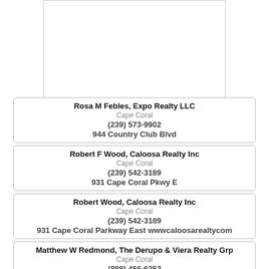[Figure (other): White rectangular image placeholder at the top of the page]
Rosa M Febles, Expo Realty LLC
Cape Coral
(239) 573-9902
944 Country Club Blvd
Robert F Wood, Caloosa Realty Inc
Cape Coral
(239) 542-3189
931 Cape Coral Pkwy E
Robert Wood, Caloosa Realty Inc
Cape Coral
(239) 542-3189
931 Cape Coral Parkway East wwwcaloosarealtycom
Matthew W Redmond, The Derupo & Viera Realty Grp
Cape Coral
(888) 466-6352
933 Del Prado Blvd Ste 105